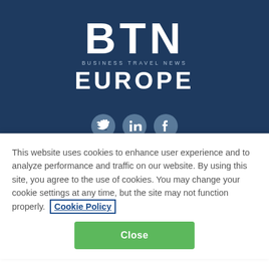[Figure (logo): BTN Business Travel News Europe logo with white text on dark navy background]
[Figure (infographic): Social media icons: Twitter, LinkedIn, Facebook in grey circles]
BUSINESS TRAVEL NEWS EUROPE
- BTN - (dropdown selector)
NORTHSTAR TRAVEL GROUP (partially visible)
This website uses cookies to enhance user experience and to analyze performance and traffic on our website. By using this site, you agree to the use of cookies. You may change your cookie settings at any time, but the site may not function properly. Cookie Policy
Close